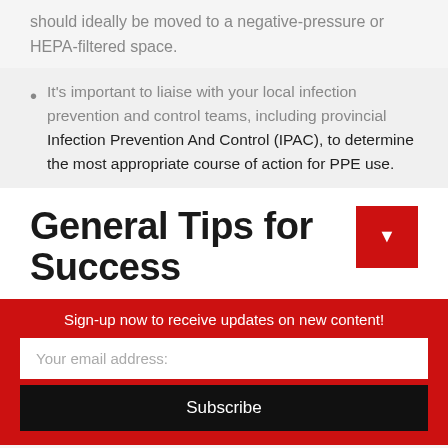should ideally be moved to a negative-pressure or HEPA-filtered space.
It's important to liaise with your local infection prevention and control teams, including provincial Infection Prevention And Control (IPAC), to determine the most appropriate course of action for PPE use.
General Tips for Success
Sign-up now to receive updates on new content!
Your email address:
Subscribe